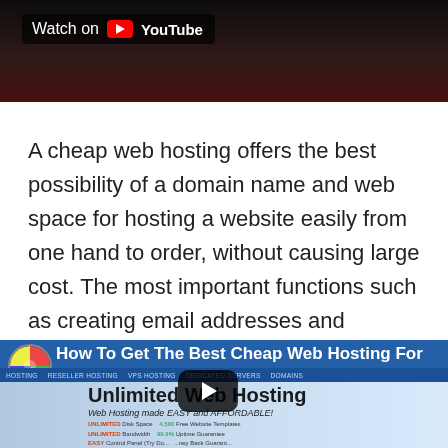[Figure (screenshot): YouTube video thumbnail with 'Watch on YouTube' badge overlay, dark video background with reddish tones]
A cheap web hosting offers the best possibility of a domain name and web space for hosting a website easily from one hand to order, without causing large cost. The most important functions such as creating email addresses and mailboxes, uploading data via FTP and a user interface to manage domains are available in all packages.
[Figure (screenshot): YouTube video thumbnail showing 'How To Get The Best Cheap Web Hosting For' with channel icon, navigation bar, and hosting website screenshot showing 'Unlimited Web Hosting' with play button overlay]